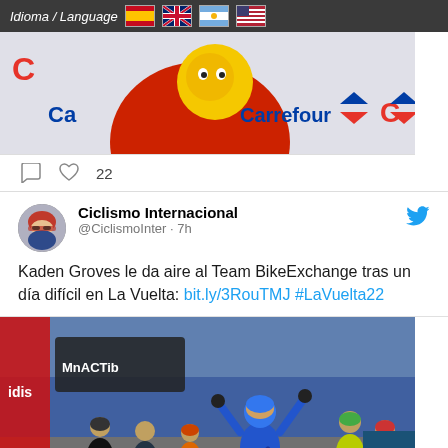Idioma / Language
[Figure (photo): Cycling event photo with Carrefour sponsor banner, showing cyclist in red jersey with yellow mascot]
22
Ciclismo Internacional @CiclismoInter · 7h
Kaden Groves le da aire al Team BikeExchange tras un día difícil en La Vuelta: bit.ly/3RouTMJ #LaVuelta22
[Figure (photo): Cycling sprint finish photo from La Vuelta, cyclist in blue jersey celebrating victory, Getty Images watermark visible]